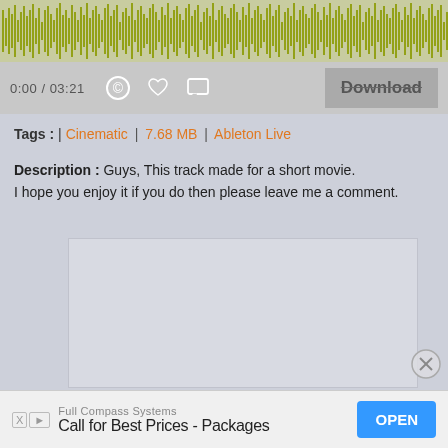[Figure (other): Audio waveform visualization with yellow-green bars on a light background, showing varying amplitude across the track]
[Figure (other): Audio player controls bar showing time 0:00 / 03:21, copyright icon, heart icon, comment icon, and Download button]
Tags : | Cinematic | 7.68 MB | Ableton Live
Description : Guys, This track made for a short movie. I hope you enjoy it if you do then please leave me a comment.
[Figure (other): Empty light gray advertisement placeholder box]
[Figure (other): Close (X) button circle at bottom right]
Full Compass Systems
Call for Best Prices - Packages  OPEN